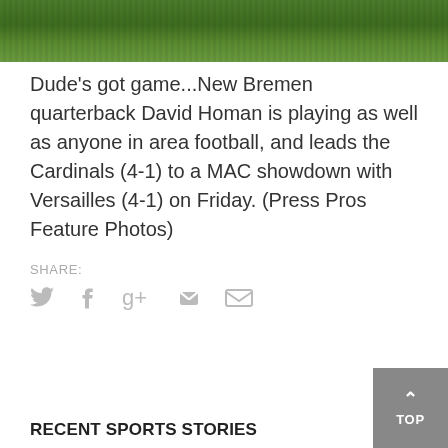[Figure (photo): Bottom portion of a grass football field, green turf visible.]
Dude's got game...New Bremen quarterback David Homan is playing as well as anyone in area football, and leads the Cardinals (4-1) to a MAC showdown with Versailles (4-1) on Friday. (Press Pros Feature Photos)
SHARE:
RECENT SPORTS STORIES